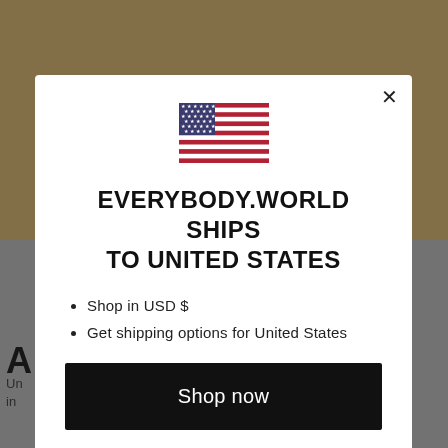[Figure (screenshot): Background showing a person standing outdoors near a yellow wall, partially obscured by a modal dialog. Bottom portion shows a grey/white background with partial text 'A' and 'Un... in...']
EVERYBODY.WORLD SHIPS TO UNITED STATES
Shop in USD $
Get shipping options for United States
Shop now
Change shipping country